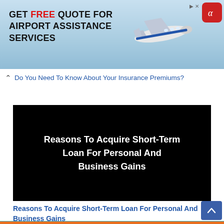[Figure (infographic): Advertisement banner with blue sky background, airplane image, text 'GET FREE QUOTE FOR AIRPORT ASSISTANCE SERVICES', and red alpha icon in top right corner]
Do You Need To Know About Your Insurance Premiums?
[Figure (screenshot): Black video thumbnail with white bold text: 'Reasons To Acquire Short-Term Loan For Personal And Business Gains']
Reasons To Acquire Short-Term Loan For Personal And Business Gains
[Figure (infographic): Bottom strip image with teal/blue background showing e-commerce and shop icons]